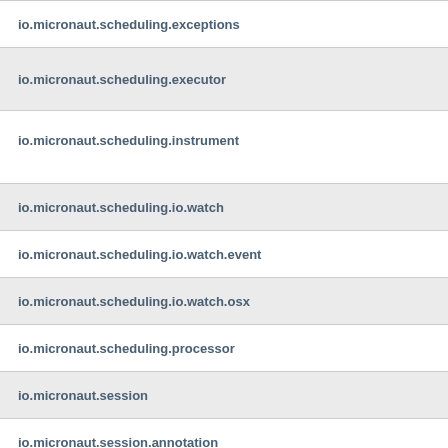io.micronaut.scheduling.exceptions
io.micronaut.scheduling.executor
io.micronaut.scheduling.instrument
io.micronaut.scheduling.io.watch
io.micronaut.scheduling.io.watch.event
io.micronaut.scheduling.io.watch.osx
io.micronaut.scheduling.processor
io.micronaut.session
io.micronaut.session.annotation
io.micronaut.session.binder
io.micronaut.session.event
io.micronaut.session.http